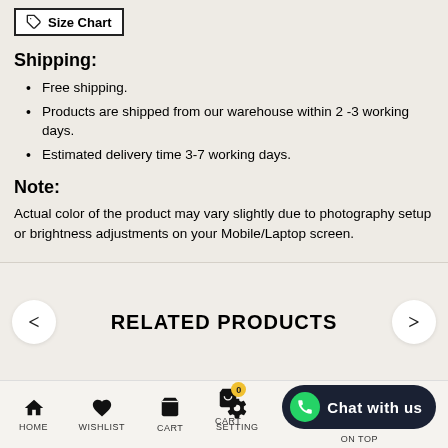[Figure (other): Size Chart button with pencil/tag icon]
Shipping:
Free shipping.
Products are shipped from our warehouse within 2 -3 working days.
Estimated delivery time 3-7 working days.
Note:
Actual color of the product may vary slightly due to photography setup or brightness adjustments on your Mobile/Laptop screen.
RELATED PRODUCTS
HOME   WISHLIST   CART 0   SETTING   ON TOP   Chat with us